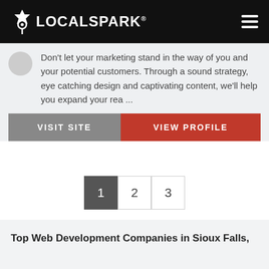[Figure (logo): LocalSpark logo with white text and location pin icon on black header bar]
Don't let your marketing stand in the way of you and your potential customers. Through a sound strategy, eye catching design and captivating content, we'll help you expand your rea ...
VISIT SITE
VIEW PROFILE
1  2  3
Top Web Development Companies in Sioux Falls,